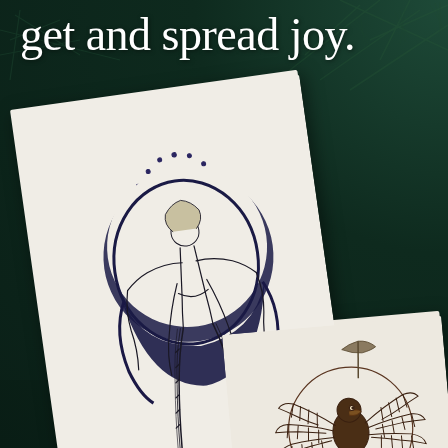get and spread joy.
[Figure (illustration): Two tattoo design sketches on white paper shown against a dark teal/green background with pine branches. The larger sketch shows a female figure seated within a crescent moon surrounded by dots/stars with long flowing braids hanging down. The smaller partially visible sketch shows a bird (eagle/phoenix) with spread wings inside a circle.]